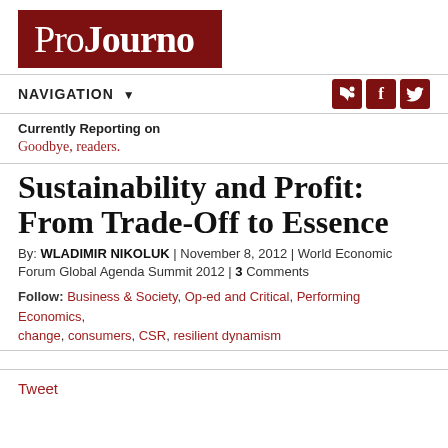[Figure (logo): ProJourno logo — dark red/maroon background with white text reading ProJourno]
NAVIGATION ▼
Currently Reporting on
Goodbye, readers.
Sustainability and Profit: From Trade-Off to Essence
By: WLADIMIR NIKOLUK | November 8, 2012 | World Economic Forum Global Agenda Summit 2012 | 3 Comments
Follow: Business & Society, Op-ed and Critical, Performing Economics, change, consumers, CSR, resilient dynamism
Tweet